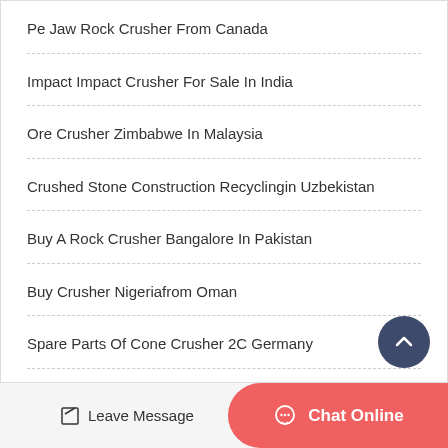Pe Jaw Rock Crusher From Canada
Impact Impact Crusher For Sale In India
Ore Crusher Zimbabwe In Malaysia
Crushed Stone Construction Recyclingin Uzbekistan
Buy A Rock Crusher Bangalore In Pakistan
Buy Crusher Nigeriafrom Oman
Spare Parts Of Cone Crusher 2C Germany
A G Grinding Mill Cost
Leave Message   Chat Online